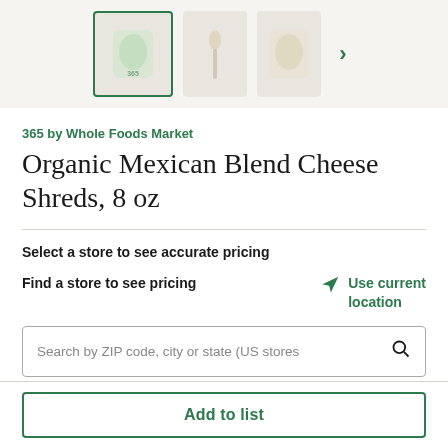[Figure (screenshot): Product image thumbnails strip showing cheese product bag (selected with green border), a spoon/utensil, and another bag, with a green right-arrow chevron.]
365 by Whole Foods Market
Organic Mexican Blend Cheese Shreds, 8 oz
Select a store to see accurate pricing
Find a store to see pricing
Use current location
Search by ZIP code, city or state (US stores
INGREDIENTS   NUTRITION FACTS
Add to list